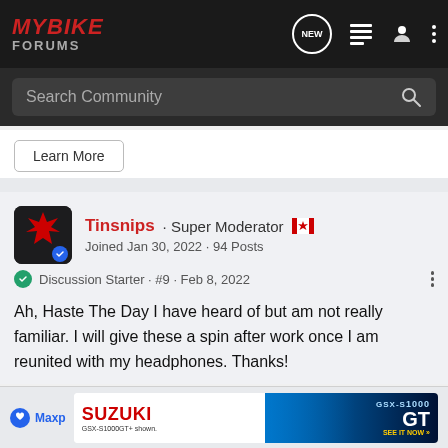MYBIKE FORUMS
Search Community
Learn More
Tinsnips · Super Moderator 🇨🇦
Joined Jan 30, 2022 · 94 Posts
Discussion Starter · #9 · Feb 8, 2022
Ah, Haste The Day I have heard of but am not really familiar. I will give these a spin after work once I am reunited with my headphones. Thanks!
[Figure (screenshot): Suzuki GSX-S1000GT advertisement banner with blue motorcycle image and GT branding]